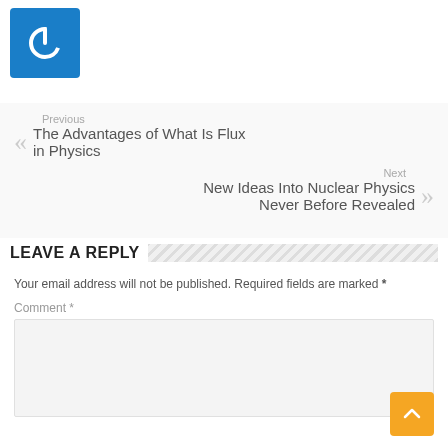[Figure (logo): Blue square logo with white power button icon]
Previous
The Advantages of What Is Flux in Physics
Next
New Ideas Into Nuclear Physics Never Before Revealed
LEAVE A REPLY
Your email address will not be published. Required fields are marked *
Comment *